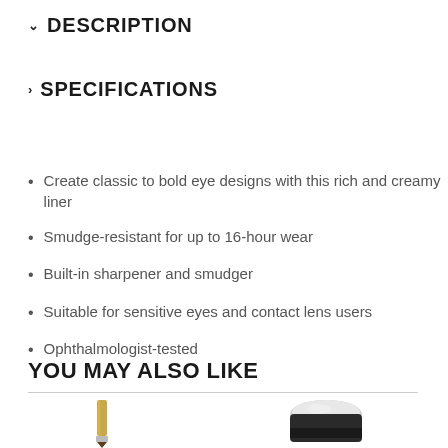DESCRIPTION
SPECIFICATIONS
Create classic to bold eye designs with this rich and creamy liner
Smudge-resistant for up to 16-hour wear
Built-in sharpener and smudger
Suitable for sensitive eyes and contact lens users
Ophthalmologist-tested
YOU MAY ALSO LIKE
[Figure (photo): Two cosmetic product images: a gold/silver eyeliner pencil on the left and a round makeup jar/container on the right]